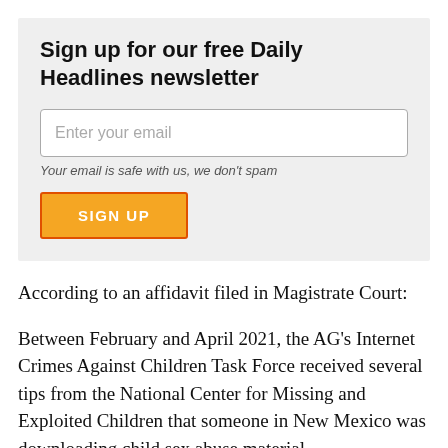Sign up for our free Daily Headlines newsletter
[Figure (other): Email signup form with text input field labeled 'Enter your email', privacy note 'Your email is safe with us, we don't spam', and an orange SIGN UP button with red border]
According to an affidavit filed in Magistrate Court:
Between February and April 2021, the AG's Internet Crimes Against Children Task Force received several tips from the National Center for Missing and Exploited Children that someone in New Mexico was downloading child sex abuse material.